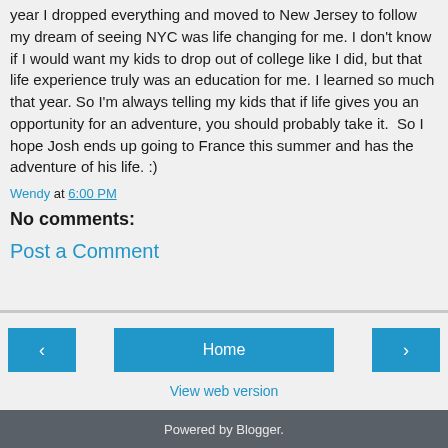year I dropped everything and moved to New Jersey to follow my dream of seeing NYC was life changing for me. I don't know if I would want my kids to drop out of college like I did, but that life experience truly was an education for me. I learned so much that year. So I'm always telling my kids that if life gives you an opportunity for an adventure, you should probably take it.  So I hope Josh ends up going to France this summer and has the adventure of his life. :)
Wendy at 6:00 PM
No comments:
Post a Comment
View web version
Powered by Blogger.